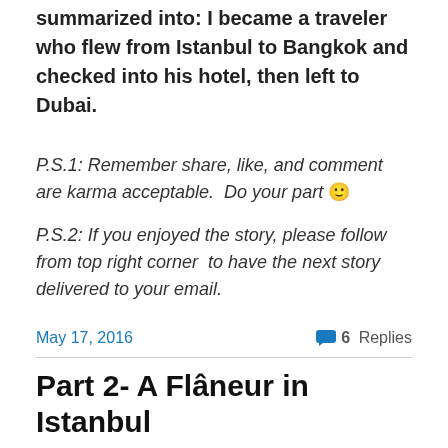summarized into: I became a traveler who flew from Istanbul to Bangkok and checked into his hotel, then left to Dubai.
P.S.1: Remember share, like, and comment are karma acceptable.  Do your part 🙂
P.S.2: If you enjoyed the story, please follow from top right corner  to have the next story delivered to your email.
May 17, 2016    💬 6 Replies
Part 2- A Flâneur in Istanbul
*6 mins reading